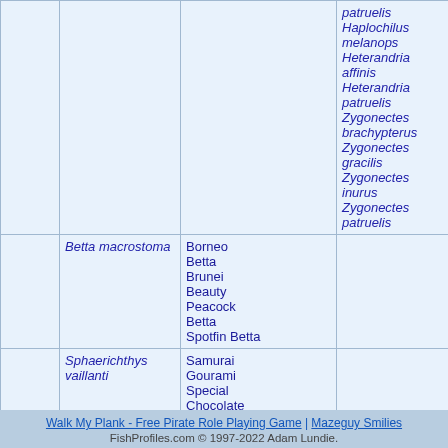| Image | Scientific Name | Common Name | Synonyms | Family |
| --- | --- | --- | --- | --- |
|  |  | patruelis Haplochilus melanops Heterandria affinis Heterandria patruelis Zygonectes brachypterus Zygonectes gracilis Zygonectes inurus Zygonectes patruelis |  |  |
|  | Betta macrostoma | Borneo Betta Brunei Beauty Peacock Betta Spotfin Betta |  | Osphronem... |
| [fish image] | Sphaerichthys vaillanti | Samurai Gourami Special Chocolate Gourami |  | Osphronem... |
Walk My Plank - Free Pirate Role Playing Game | Mazeguy Smilies
FishProfiles.com © 1997-2022 Adam Lundie.